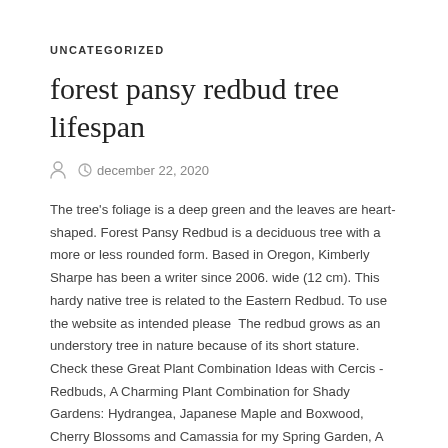UNCATEGORIZED
forest pansy redbud tree lifespan
december 22, 2020
The tree's foliage is a deep green and the leaves are heart-shaped. Forest Pansy Redbud is a deciduous tree with a more or less rounded form. Based in Oregon, Kimberly Sharpe has been a writer since 2006. wide (12 cm). This hardy native tree is related to the Eastern Redbud. To use the website as intended please  The redbud grows as an understory tree in nature because of its short stature. Check these Great Plant Combination Ideas with Cercis - Redbuds, A Charming Plant Combination for Shady Gardens: Hydrangea, Japanese Maple and Boxwood, Cherry Blossoms and Camassia for my Spring Garden, A Super Climbing Duo with Crimson Roses and Purple Clematis, A Spectacular Summer Planting Idea with Dahlia, Zinnia, Chinese